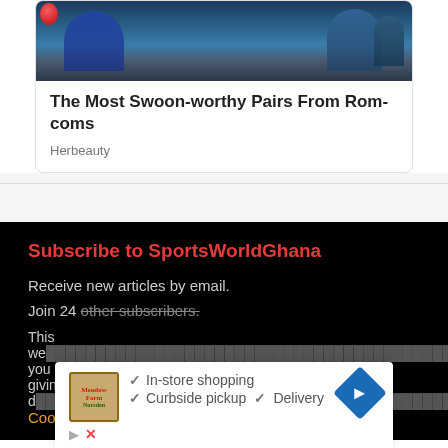[Figure (photo): Photo of two people sitting on a couch at what appears to be a TV show or event, with red decorative elements visible]
The Most Swoon-worthy Pairs From Rom-coms
Herbeauty
Subscribe to SportsWorldGhana
Receive new articles by email.
Join 24 other subscribers.
This we... you are giving c... Cookie
[Figure (screenshot): Advertisement overlay showing a store logo, checkmarks for In-store shopping, Curbside pickup, Delivery, and a navigation/directions icon]